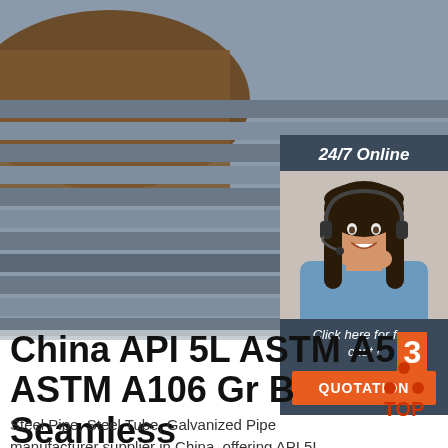[Figure (photo): Stack of steel pipes/bars viewed from the ends, showing circular cross-sections, with dirt/soil visible in the background. Industrial outdoor setting.]
[Figure (photo): Dark blue-gray sidebar panel with '24/7 Online' label, photo of a smiling female customer service agent wearing a headset, 'Click here for free chat!' text, and orange QUOTATION button.]
China API 5L ASTM A53 ASTM A106 Gr B Seamless Steel
Steel Pipe, Steel Tube, Galvanized Pipe manufacturer supplier in China, offering API 5L ASTM A53 ASTM A106 Gr B Seamless Steel Pipe
[Figure (logo): TOP logo: orange/red triangle dots above the word TOP in orange-red text]